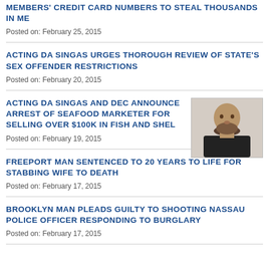MEMBERS' CREDIT CARD NUMBERS TO STEAL THOUSANDS IN ME
Posted on: February 25, 2015
ACTING DA SINGAS URGES THOROUGH REVIEW OF STATE'S SEX OFFENDER RESTRICTIONS
Posted on: February 20, 2015
ACTING DA SINGAS AND DEC ANNOUNCE ARREST OF SEAFOOD MARKETER FOR SELLING OVER $100K IN FISH AND SHEL
[Figure (photo): Mugshot photo of a man with beard wearing dark clothing]
Posted on: February 19, 2015
FREEPORT MAN SENTENCED TO 20 YEARS TO LIFE FOR STABBING WIFE TO DEATH
Posted on: February 17, 2015
BROOKLYN MAN PLEADS GUILTY TO SHOOTING NASSAU POLICE OFFICER RESPONDING TO BURGLARY
Posted on: February 17, 2015